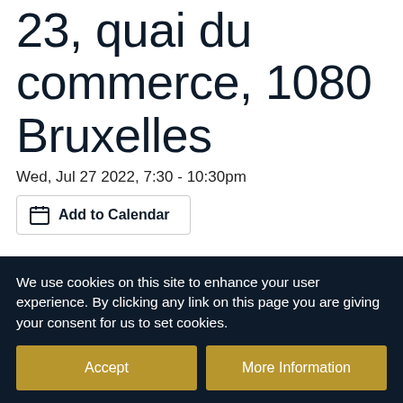23, quai du commerce, 1080 Bruxelles
Wed, Jul 27 2022, 7:30 - 10:30pm
Add to Calendar
We use cookies on this site to enhance your user experience. By clicking any link on this page you are giving your consent for us to set cookies.
Accept
More Information